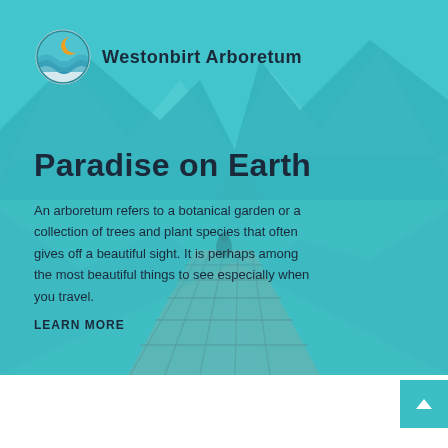[Figure (photo): Hero background image of a mountain lake with a wooden dock/pier extending into calm teal-blue water, surrounded by steep mountains with trees. A person sits at the end of the dock. The image has a strong teal/cyan color overlay.]
[Figure (logo): Westonbirt Arboretum circular logo with stylized waves and a sun/moon element in blue and orange tones, followed by text 'Westonbirt Arboretum']
Paradise on Earth
An arboretum refers to a botanical garden or a collection of trees and plant species that often gives off a beautiful sight. It is perhaps among the most beautiful things to see especially when you travel.
LEARN MORE
CATEGORIES